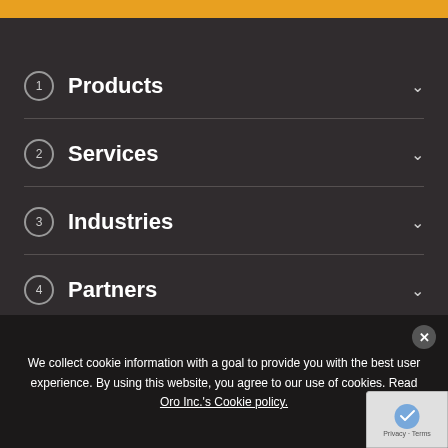1 Products
2 Services
3 Industries
4 Partners
5 Resources
We collect cookie information with a goal to provide you with the best user experience. By using this website, you agree to our use of cookies. Read Oro Inc.'s Cookie policy.